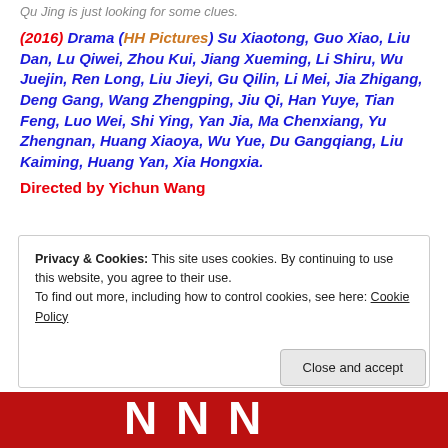Qu Jing is just looking for some clues.
(2016) Drama (HH Pictures) Su Xiaotong, Guo Xiao, Liu Dan, Lu Qiwei, Zhou Kui, Jiang Xueming, Li Shiru, Wu Juejin, Ren Long, Liu Jieyi, Gu Qilin, Li Mei, Jia Zhigang, Deng Gang, Wang Zhengping, Jiu Qi, Han Yuye, Tian Feng, Luo Wei, Shi Ying, Yan Jia, Ma Chenxiang, Yu Zhengnan, Huang Xiaoya, Wu Yue, Du Gangqiang, Liu Kaiming, Huang Yan, Xia Hongxia. Directed by Yichun Wang
Privacy & Cookies: This site uses cookies. By continuing to use this website, you agree to their use. To find out more, including how to control cookies, see here: Cookie Policy
Close and accept